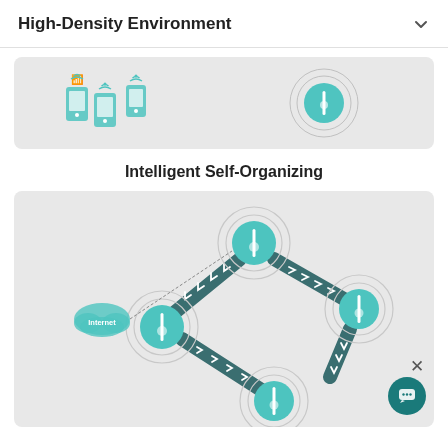High-Density Environment
[Figure (infographic): Partial infographic showing wireless devices (phones with WiFi icons) on the left and a teal circular access point icon on the right, on a light gray rounded rectangle background. This is the bottom portion of a High-Density Environment diagram.]
Intelligent Self-Organizing
[Figure (network-graph): Infographic showing four teal circular access point nodes connected by dark teal arrow-lined paths forming a rectangular network. A cloud labeled 'Internet' is connected to the top-left node. Directional chevron arrows on the connecting paths indicate data flow between the nodes. The diagram illustrates an intelligent self-organizing mesh network topology.]